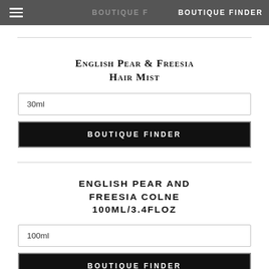BOUTIQUE FINDER
English Pear & Freesia Hair Mist
30ml
BOUTIQUE FINDER
ENGLISH PEAR AND FREESIA COLNE 100ML/3.4FLOZ
100ml
BOUTIQUE FINDER
English Pear & Freesia Cologne